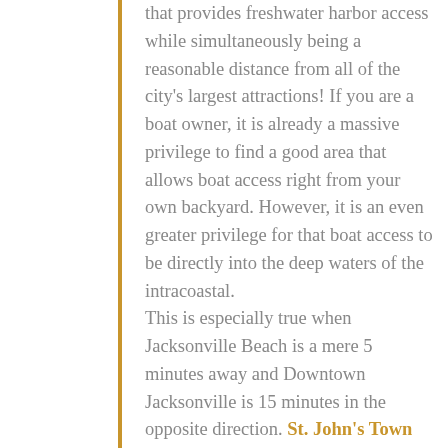that provides freshwater harbor access while simultaneously being a reasonable distance from all of the city's largest attractions! If you are a boat owner, it is already a massive privilege to find a good area that allows boat access right from your own backyard. However, it is an even greater privilege for that boat access to be directly into the deep waters of the intracoastal.

This is especially true when Jacksonville Beach is a mere 5 minutes away and Downtown Jacksonville is 15 minutes in the opposite direction. St. John's Town Center is also 15 minutes down the road for all your shopping and dining needs. Between natural beauty, intercoastal access, nearby beaches, shopping, restaurants, and top-notch education